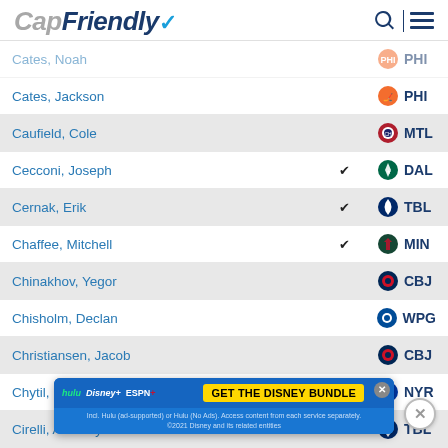CapFriendly
| Player | RFA | Team |
| --- | --- | --- |
| Cates, Noah |  | PHI |
| Cates, Jackson |  | PHI |
| Caufield, Cole |  | MTL |
| Cecconi, Joseph | ✓ | DAL |
| Cernak, Erik | ✓ | TBL |
| Chaffee, Mitchell | ✓ | MIN |
| Chinakhov, Yegor |  | CBJ |
| Chisholm, Declan |  | WPG |
| Christiansen, Jacob |  | CBJ |
| Chytil, Filip | ✓ | NYR |
| Cirelli, Anthony | ✓ | TBL |
| Clague, Kale | ✓ | BUF |
| Clark, Ko... |  | WSH |
| Clurman... |  | COL |